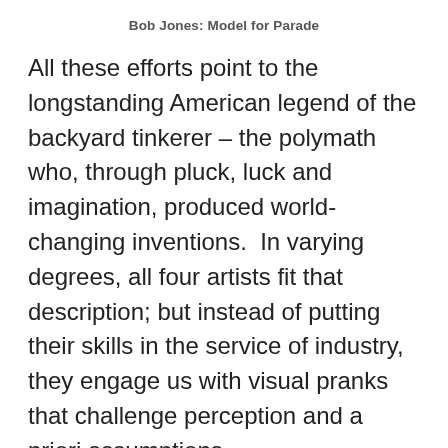Bob Jones: Model for Parade
All these efforts point to the longstanding American legend of the backyard tinkerer – the polymath who, through pluck, luck and imagination, produced world-changing inventions.  In varying degrees, all four artists fit that description; but instead of putting their skills in the service of industry, they engage us with visual pranks that challenge perception and a priori assumptions.
# # #
Chris Daubert, Bob Jones, Tony May and